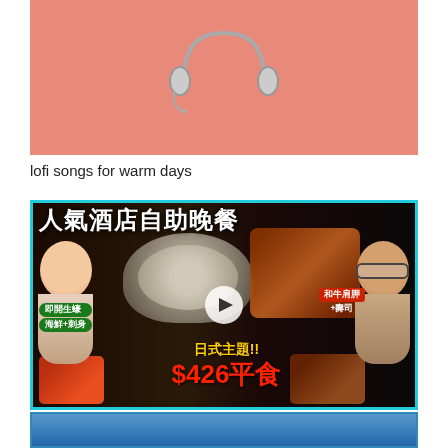[Figure (illustration): Partial thumbnail with pink/salmon background showing headphones illustration, cropped at top]
lofi songs for warm days
[Figure (screenshot): Video thumbnail with cyan border showing Chinese text 人氣酒店自助晚餐 (popular hotel buffet dinner), $426 price tag, Japanese theme buffet promotional image with two hosts, oysters, wagyu, sushi items]
□□□□□□$426□□□□□□□4□□□□□□Buffet□3□□□□□□□+□□+□□□□□□□...□Kiki and May
[Figure (screenshot): Partial bottom thumbnail in blue tones, cropped]